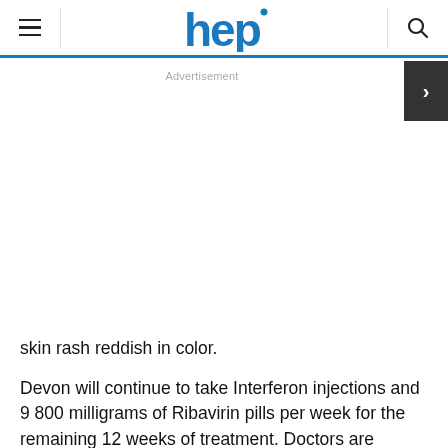hep
Advertisement
skin rash reddish in color.
Devon will continue to take Interferon injections and 9 800 milligrams of Ribavirin pills per week for the remaining 12 weeks of treatment. Doctors are hopeful that the itching side effect of treatment will be reduced as the Incivek